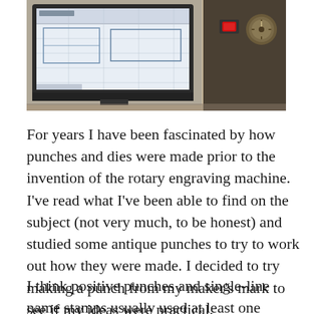[Figure (photo): A photograph showing a computer monitor or display on the left with what appears to be a blueprint or technical drawing on screen, and on the right a dark metal surface with a red button and a round metallic knob/dial.]
For years I have been fascinated by how punches and dies were made prior to the invention of the rotary engraving machine. I've read what I've been able to find on the subject (not very much, to be honest) and studied some antique punches to try to work out how they were made. I decided to try making a punch from my maker's mark to see if my ideas were practical.
I think positive punches and single-line name stamps usually used at least one counterpunch